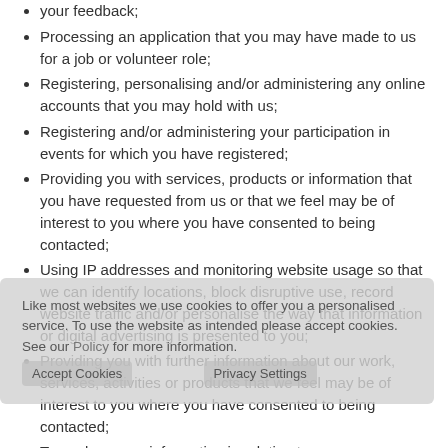your feedback;
Processing an application that you may have made to us for a job or volunteer role;
Registering, personalising and/or administering any online accounts that you may hold with us;
Registering and/or administering your participation in events for which you have registered;
Providing you with services, products or information that you have requested from us or that we feel may be of interest to you where you have consented to being contacted;
Using IP addresses and monitoring website usage so that we can identify locations, block disruptive use, record website traffic and/or personalise the way that information or digital advertising is presented to you;
Providing you with further information about our work, services, activities or products that we feel may be of interest to you where you have consented to being contacted;
To analyse your information in relation to our